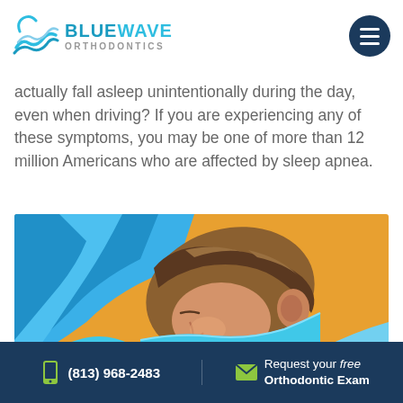BLUEWAVE ORTHODONTICS
actually fall asleep unintentionally during the day, even when driving? If you are experiencing any of these symptoms, you may be one of more than 12 million Americans who are affected by sleep apnea.
[Figure (photo): Person sleeping with head buried under blue blanket/pillow, with orange/yellow fabric visible in background]
(813) 968-2483   Request your free Orthodontic Exam